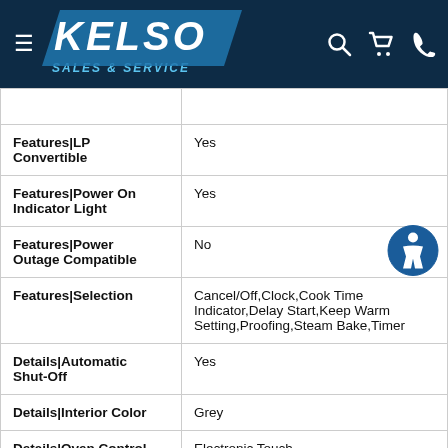KELSO SALES & SERVICE
| Feature | Value |
| --- | --- |
| Features|LP Convertible | Yes |
| Features|Power On Indicator Light | Yes |
| Features|Power Outage Compatible | No |
| Features|Selection | Cancel/Off,Clock,Cook Time Indicator,Delay Start,Keep Warm Setting,Proofing,Steam Bake,Timer |
| Details|Automatic Shut-Off | Yes |
| Details|Interior Color | Grey |
| Details|Oven Control Type | Electronic Touch |
|  | S... |